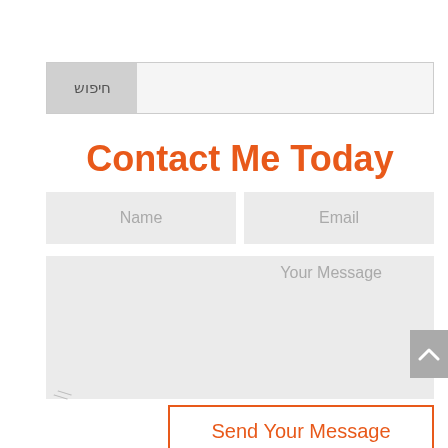[Figure (screenshot): Search bar with Hebrew text 'חיפוש' in a gray button on the right side, and an empty input field on the left]
Contact Me Today
[Figure (screenshot): Contact form with Name and Email input fields side by side, a large message textarea below, a scroll-to-top arrow button on the right, and a 'Send Your Message' submit button at the bottom]